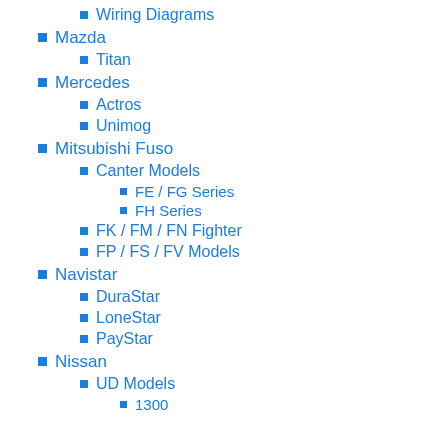Wiring Diagrams
Mazda
Titan
Mercedes
Actros
Unimog
Mitsubishi Fuso
Canter Models
FE / FG Series
FH Series
FK / FM / FN Fighter
FP / FS / FV Models
Navistar
DuraStar
LoneStar
PayStar
Nissan
UD Models
1300